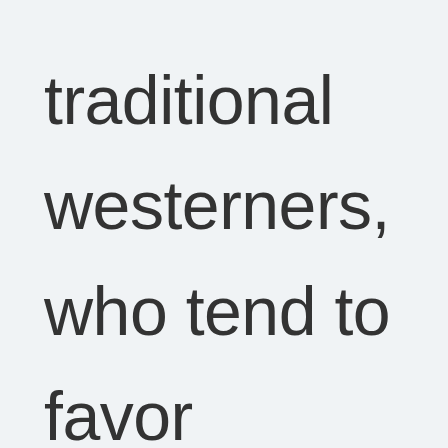traditional westerners, who tend to favor